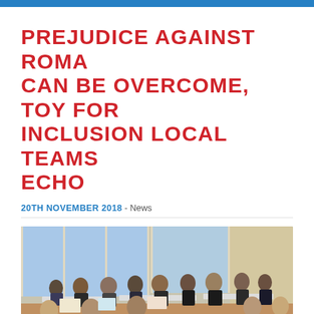PREJUDICE AGAINST ROMA CAN BE OVERCOME, TOY FOR INCLUSION LOCAL TEAMS ECHO
20TH NOVEMBER 2018 - News
[Figure (photo): A group of people sitting at tables in a seminar or workshop room, listening attentively. The room is bright with natural light from windows.]
An international event held by TOY for Inclusion shared achievements and lessons learned over the past two years. Thanks to the work of local communities and